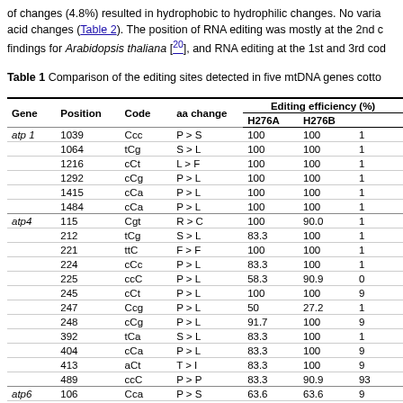of changes (4.8%) resulted in hydrophobic to hydrophilic changes. No varia acid changes (Table 2). The position of RNA editing was mostly at the 2nd c findings for Arabidopsis thaliana [20], and RNA editing at the 1st and 3rd cod
Table 1 Comparison of the editing sites detected in five mtDNA genes cotto
| Gene | Position | Code | aa change | H276A | H276B |  |
| --- | --- | --- | --- | --- | --- | --- |
| atp 1 | 1039 | Ccc | P > S | 100 | 100 | 1 |
|  | 1064 | tCg | S > L | 100 | 100 | 1 |
|  | 1216 | cCt | L > F | 100 | 100 | 1 |
|  | 1292 | cCg | P > L | 100 | 100 | 1 |
|  | 1415 | cCa | P > L | 100 | 100 | 1 |
|  | 1484 | cCa | P > L | 100 | 100 | 1 |
| atp4 | 115 | Cgt | R > C | 100 | 90.0 | 1 |
|  | 212 | tCg | S > L | 83.3 | 100 | 1 |
|  | 221 | ttC | F > F | 100 | 100 | 1 |
|  | 224 | cCc | P > L | 83.3 | 100 | 1 |
|  | 225 | ccC | P > L | 58.3 | 90.9 | 0 |
|  | 245 | cCt | P > L | 100 | 100 | 9 |
|  | 247 | Ccg | P > L | 50 | 27.2 | 1 |
|  | 248 | cCg | P > L | 91.7 | 100 | 9 |
|  | 392 | tCa | S > L | 83.3 | 100 | 1 |
|  | 404 | cCa | P > L | 83.3 | 100 | 9 |
|  | 413 | aCt | T > I | 83.3 | 100 | 9 |
|  | 489 | ccC | P > P | 83.3 | 90.9 | 93 |
| atp6 | 106 | Cca | P > S | 63.6 | 63.6 | 9 |
|  | 242 | cCg | P > L | 54.5 | 45.5 | 6 |